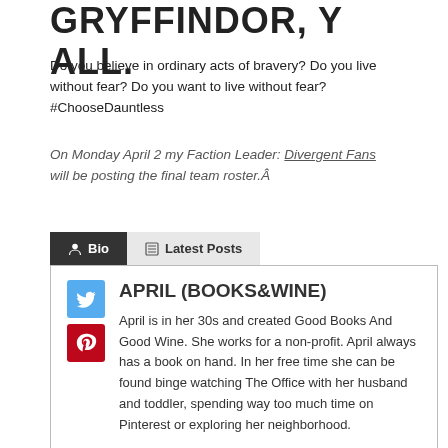GRYFFINDOR, Y ALL.
Do you believe in ordinary acts of bravery? Do you live without fear? Do you want to live without fear? #ChooseDauntless
On Monday April 2 my Faction Leader: Divergent Fans will be posting the final team roster.Â
Bio | Latest Posts
APRIL (BOOKS&WINE)
April is in her 30s and created Good Books And Good Wine. She works for a non-profit. April always has a book on hand. In her free time she can be found binge watching The Office with her husband and toddler, spending way too much time on Pinterest or exploring her neighborhood.